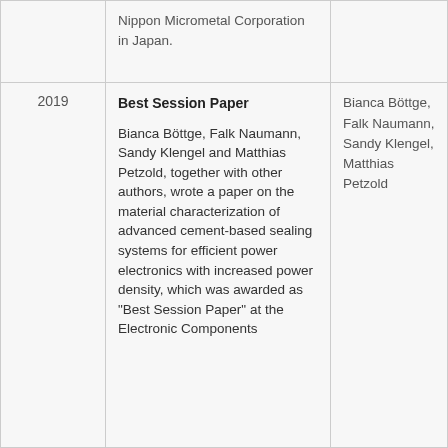| Year | Description | Persons |
| --- | --- | --- |
|  | Nippon Micrometal Corporation in Japan. |  |
| 2019 | Best Session Paper

Bianca Böttge, Falk Naumann, Sandy Klengel and Matthias Petzold, together with other authors, wrote a paper on the material characterization of advanced cement-based sealing systems for efficient power electronics with increased power density, which was awarded as "Best Session Paper" at the Electronic Components | Bianca Böttge, Falk Naumann, Sandy Klengel, Matthias Petzold |